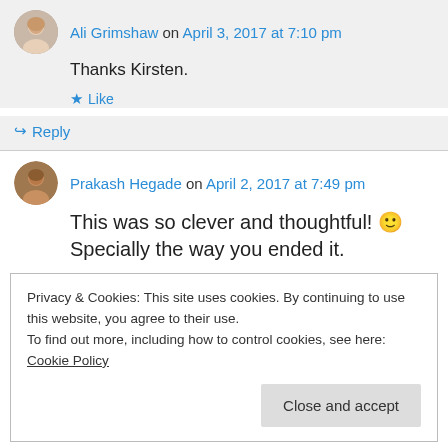Ali Grimshaw on April 3, 2017 at 7:10 pm
Thanks Kirsten.
Like
Reply
Prakash Hegade on April 2, 2017 at 7:49 pm
This was so clever and thoughtful! 🙂 Specially the way you ended it.
Privacy & Cookies: This site uses cookies. By continuing to use this website, you agree to their use.
To find out more, including how to control cookies, see here: Cookie Policy
Close and accept